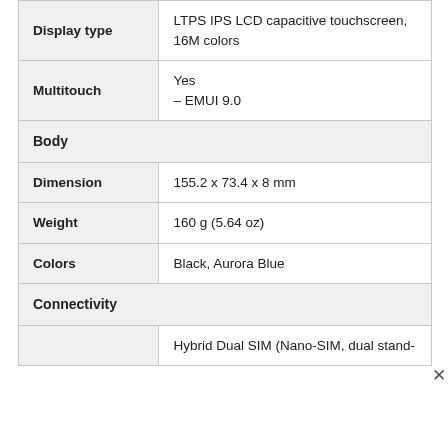| Property | Value |
| --- | --- |
| Display type | LTPS IPS LCD capacitive touchscreen, 16M colors |
| Multitouch | Yes
– EMUI 9.0 |
| Body |  |
| Dimension | 155.2  x  73.4  x  8 mm |
| Weight | 160 g (5.64 oz) |
| Colors | Black, Aurora Blue |
| Connectivity |  |
|  | Hybrid Dual SIM (Nano-SIM, dual stand- |